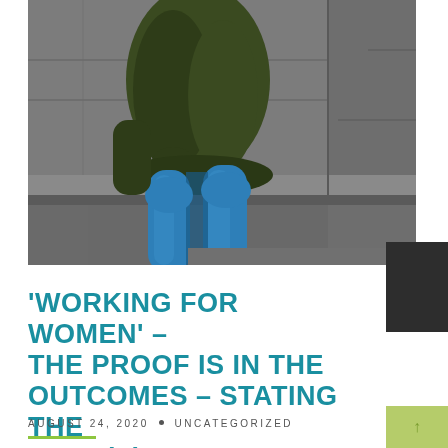[Figure (photo): A person in a dark green coat and bright blue tights/leggings sitting on stone steps, torso and legs visible, no face shown.]
'WORKING FOR WOMEN' – THE PROOF IS IN THE OUTCOMES – STATING THE CASE(S)
AUGUST 24, 2020 • UNCATEGORIZED